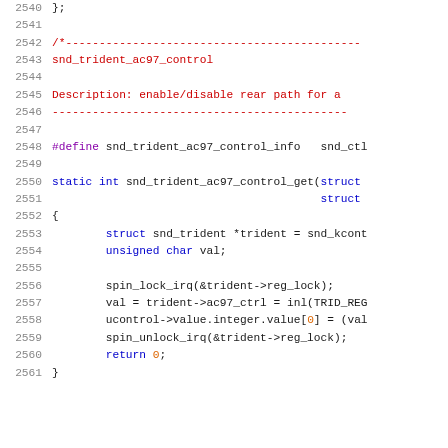Source code listing lines 2540-2561, showing C code for snd_trident_ac97_control function
2540  };
2541
2542  /*---...
2543       snd_trident_ac97_control
2544
2545       Description: enable/disable rear path for a
2546       ---...
2547
2548  #define snd_trident_ac97_control_info   snd_ctl
2549
2550  static int snd_trident_ac97_control_get(struct
2551                                          struct
2552  {
2553       struct snd_trident *trident = snd_kcont
2554       unsigned char val;
2555
2556       spin_lock_irq(&trident->reg_lock);
2557       val = trident->ac97_ctrl = inl(TRID_REG
2558       ucontrol->value.integer.value[0] = (val
2559       spin_unlock_irq(&trident->reg_lock);
2560       return 0;
2561  }